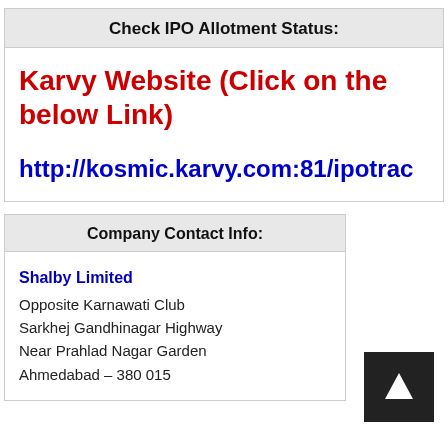Check IPO Allotment Status:
Karvy Website (Click on the below Link)
http://kosmic.karvy.com:81/ipotrac
Company Contact Info:
Shalby Limited
Opposite Karnawati Club
Sarkhej Gandhinagar Highway
Near Prahlad Nagar Garden
Ahmedabad – 380 015